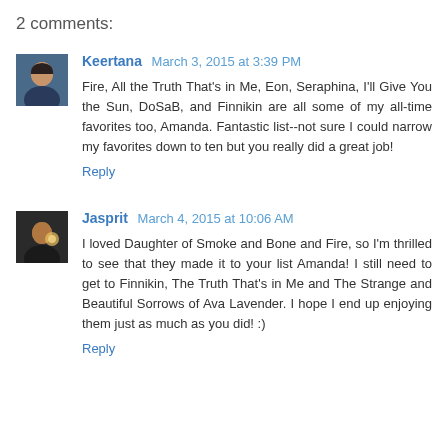2 comments:
Keertana March 3, 2015 at 3:39 PM
Fire, All the Truth That's in Me, Eon, Seraphina, I'll Give You the Sun, DoSaB, and Finnikin are all some of my all-time favorites too, Amanda. Fantastic list--not sure I could narrow my favorites down to ten but you really did a great job!
Reply
Jasprit March 4, 2015 at 10:06 AM
I loved Daughter of Smoke and Bone and Fire, so I'm thrilled to see that they made it to your list Amanda! I still need to get to Finnikin, The Truth That's in Me and The Strange and Beautiful Sorrows of Ava Lavender. I hope I end up enjoying them just as much as you did! :)
Reply